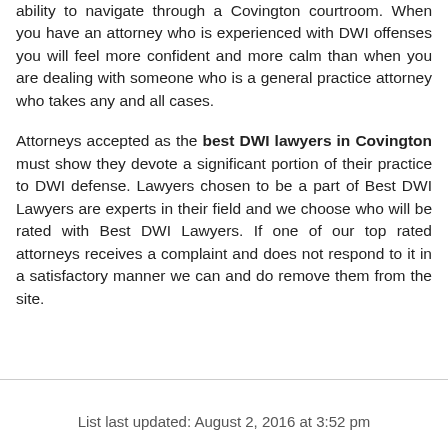ability to navigate through a Covington courtroom. When you have an attorney who is experienced with DWI offenses you will feel more confident and more calm than when you are dealing with someone who is a general practice attorney who takes any and all cases.
Attorneys accepted as the best DWI lawyers in Covington must show they devote a significant portion of their practice to DWI defense. Lawyers chosen to be a part of Best DWI Lawyers are experts in their field and we choose who will be rated with Best DWI Lawyers. If one of our top rated attorneys receives a complaint and does not respond to it in a satisfactory manner we can and do remove them from the site.
List last updated: August 2, 2016 at 3:52 pm